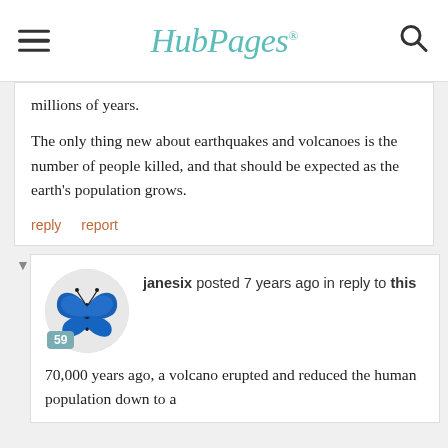HubPages
millions of years.

The only thing new about earthquakes and volcanoes is the number of people killed, and that should be expected as the earth's population grows.
reply   report
janesix posted 7 years ago in reply to this
70,000 years ago, a volcano erupted and reduced the human population down to a few thousand. Now THAT would be considered